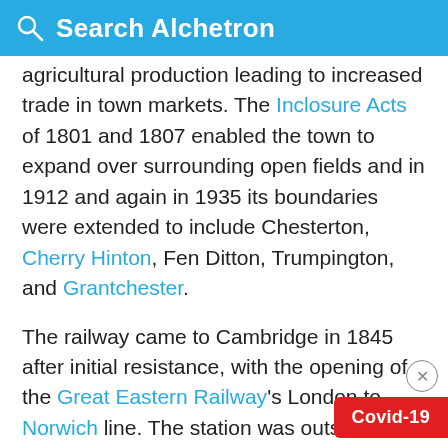Search Alchetron
agricultural production leading to increased trade in town markets. The Inclosure Acts of 1801 and 1807 enabled the town to expand over surrounding open fields and in 1912 and again in 1935 its boundaries were extended to include Chesterton, Cherry Hinton, Fen Ditton, Trumpington, and Grantchester.
The railway came to Cambridge in 1845 after initial resistance, with the opening of the Great Eastern Railway's London to Norwich line. The station was outside the town centre following pressure from the university to restrict travel by undergraduates. With the arrival of the railway and associated employment came development of areas near the station, such as Romsey Town. The rail link to